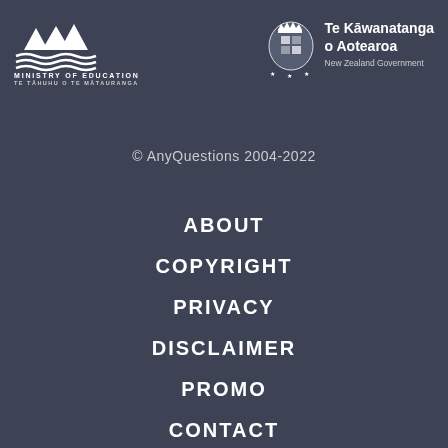[Figure (logo): Ministry of Education logo with mountain peaks, wavy lines, text MINISTRY OF EDUCATION / TE TĀHUHU O TE MĀTAURANGA]
[Figure (logo): New Zealand Government coat of arms with text Te Kāwanatanga o Aotearoa / New Zealand Government]
© AnyQuestions 2004-2022
ABOUT
COPYRIGHT
PRIVACY
DISCLAIMER
PROMO
CONTACT